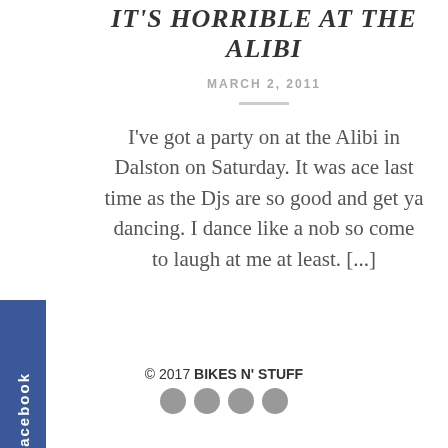IT'S HORRIBLE AT THE ALIBI
MARCH 2, 2011
I've got a party on at the Alibi in Dalston on Saturday. It was ace last time as the Djs are so good and get ya dancing. I dance like a nob so come to laugh at me at least. [...]
© 2017 BIKES N' STUFF